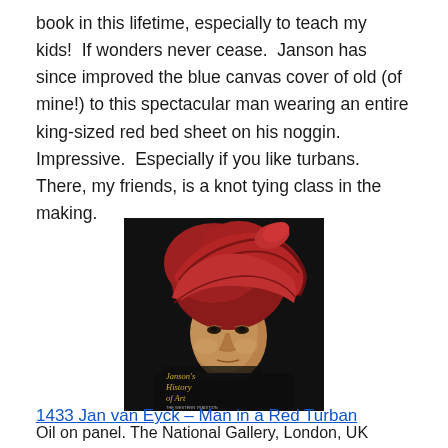book in this lifetime, especially to teach my kids!  If wonders never cease.  Janson has since improved the blue canvas cover of old (of mine!) to this spectacular man wearing an entire king-sized red bed sheet on his noggin.  Impressive.  Especially if you like turbans.  There, my friends, is a knot tying class in the making.
[Figure (photo): Book cover of Janson's History of Art – The Western Tradition. Shows a painting of a man wearing a large red turban against a dark background, with the title text overlaid in gold/white lettering.]
1433 Jan van Eyck – Man in a Red Turban
Oil on panel. The National Gallery, London, UK